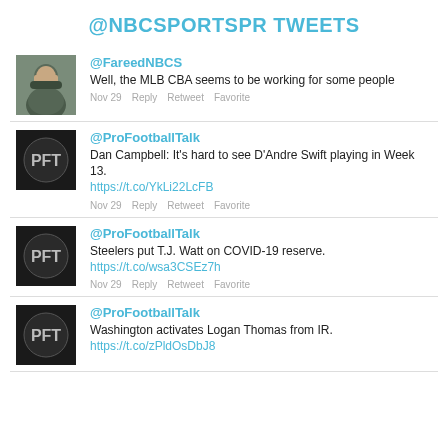@NBCSPORTSPR TWEETS
@FareedNBCS
Well, the MLB CBA seems to be working for some people
Nov 29  Reply  Retweet  Favorite
@ProFootballTalk
Dan Campbell: It's hard to see D'Andre Swift playing in Week 13. https://t.co/YkLi22LcFB
Nov 29  Reply  Retweet  Favorite
@ProFootballTalk
Steelers put T.J. Watt on COVID-19 reserve. https://t.co/wsa3CSEz7h
Nov 29  Reply  Retweet  Favorite
@ProFootballTalk
Washington activates Logan Thomas from IR. https://t.co/zPldOsDbJ8